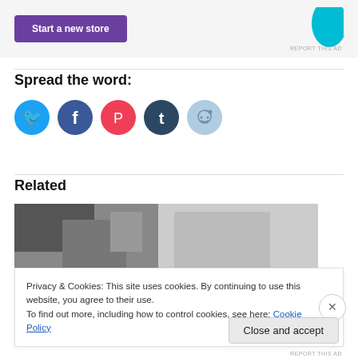[Figure (other): Advertisement banner with purple 'Start a new store' button and cyan graphic element]
Spread the word:
[Figure (infographic): Row of social share icon buttons: Twitter (cyan), Facebook (blue), Pocket (red), Tumblr (dark navy), Reddit (light blue)]
Related
[Figure (photo): Black and white photo, partially visible]
Privacy & Cookies: This site uses cookies. By continuing to use this website, you agree to their use.
To find out more, including how to control cookies, see here: Cookie Policy